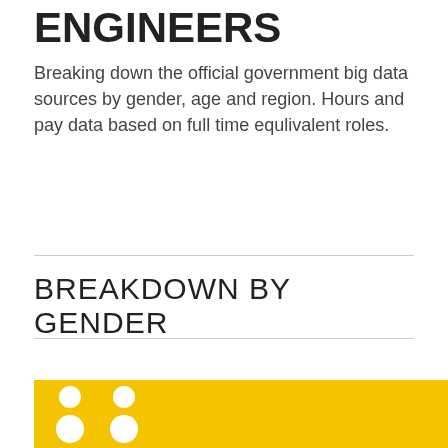ENGINEERS
Breaking down the official government big data sources by gender, age and region. Hours and pay data based on full time equlivalent roles.
BREAKDOWN BY GENDER
[Figure (infographic): Yellow banner at the bottom of the page with white person/people icons and partial text visible, representing a gender breakdown infographic. A dark circular scroll-up button is visible on the right side.]